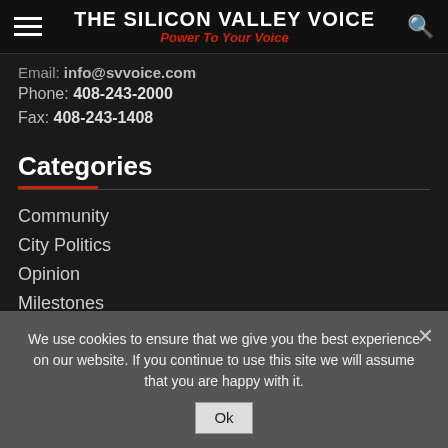THE SILICON VALLEY VOICE — Power To Your Voice
Email: info@svvoice.com
Phone: 408-243-2000
Fax: 408-243-1408
Categories
Community
City Politics
Opinion
Milestones
Op-Ed
We use cookies to ensure that we give you the best experience on our website. If you continue to use this site we will assume that you are happy with it.